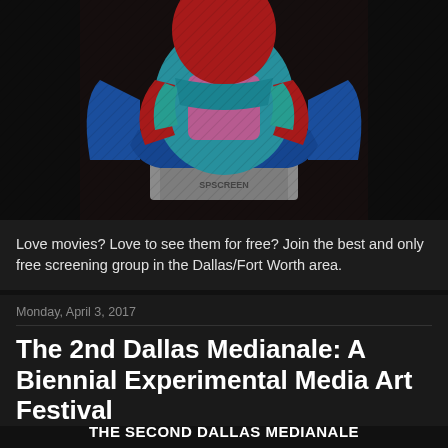[Figure (illustration): Colorful abstract illustration of a figure seated in a blue chair, with bright red, pink, teal and blue colors against a dark background]
Love movies? Love to see them for free? Join the best and only free screening group in the Dallas/Fort Worth area.
Monday, April 3, 2017
The 2nd Dallas Medianale: A Biennial Experimental Media Art Festival
THE SECOND DALLAS MEDIANALE